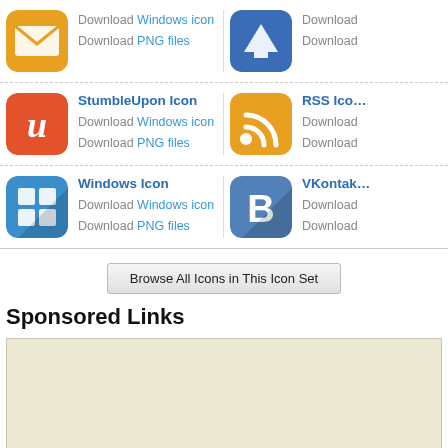Email Icon - Download Windows icon, Download PNG files
Top Icon - Download, Download
StumbleUpon Icon - Download Windows icon, Download PNG files
RSS Icon - Download, Download
Windows Icon - Download Windows icon, Download PNG files
VKontakte Icon - Download, Download
Browse All Icons in This Icon Set
Sponsored Links